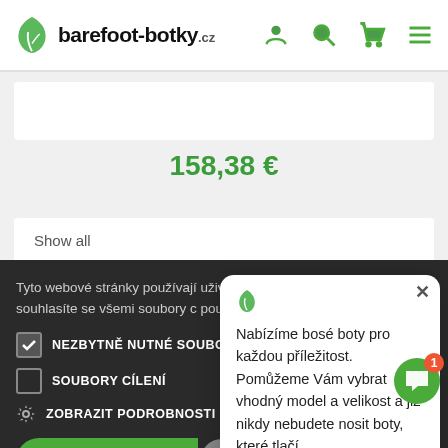[Figure (logo): barefoot-botky.cz logo with green leaf icon and navigation icons (user, search, cart, menu)]
158,38 €
Show all
Tyto webové stránky používají uživatelského zážitku. Používá souhlasíte se všemi soubory c používání souborů cookie. Víc
NEZBYTNĚ NUTNÉ SOUBORY
SOUBORY CÍLENÍ
ZOBRAZIT PODROBNOSTI
VŠE PŘIJMOUT
VŠE ODMÍTNOUT
POWERED BY COOKIE-SCRIPT
Nabízíme bosé boty pro každou příležitost. Pomůžeme Vám vybrat vhodný model a velikost a již nikdy nebudete nosit boty, které tlačí.
Zahájit konverzaci